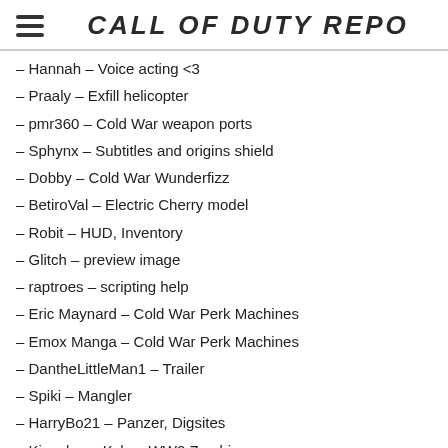CALL OF DUTY REPO
– Hannah – Voice acting <3
– Praaly – Exfill helicopter
– pmr360 – Cold War weapon ports
– Sphynx – Subtitles and origins shield
– Dobby – Cold War Wunderfizz
– BetiroVal – Electric Cherry model
– Robit – HUD, Inventory
– Glitch – preview image
– raptroes – scripting help
– Eric Maynard – Cold War Perk Machines
– Emox Manga – Cold War Perk Machines
– DantheLittleMan1 – Trailer
– Spiki – Mangler
– HarryBo21 – Panzer, Digsites
– Kingslayer Kyle – WW2 Zombies